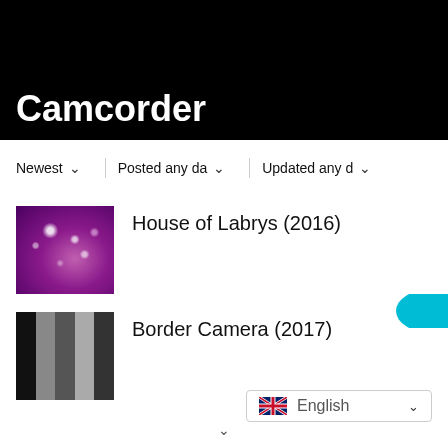Camcorder
Newest ▾ | Posted any da ▾ | Updated any d ▾
House of Labrys (2016)
Border Camera (2017)
English ▾